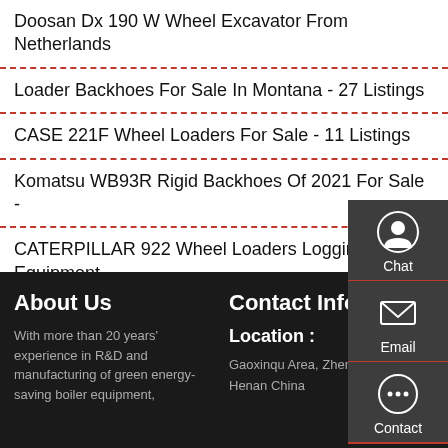Doosan Dx 190 W Wheel Excavator From Netherlands
Loader Backhoes For Sale In Montana - 27 Listings
CASE 221F Wheel Loaders For Sale - 11 Listings
Komatsu WB93R Rigid Backhoes Of 2021 For Sale -
CATERPILLAR 922 Wheel Loaders Logging Equipment
About Us
With more than 20 years' experience in R&D and manufacturing of green energy-saving boiler equipment,
Contact Info
Location :
Gaoxinqu Area, Zhengzhou Henan China